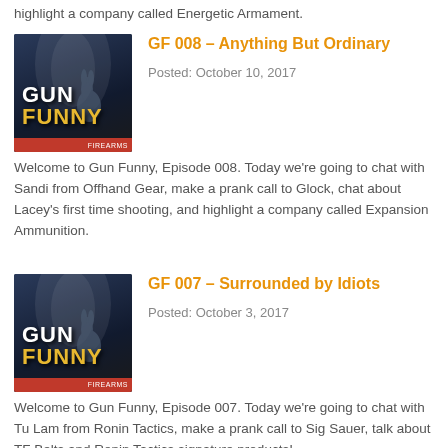highlight a company called Energetic Armament.
[Figure (illustration): Gun Funny podcast logo - cartoon rabbit holding a firearm on a dark blue background with 'GUN FUNNY' text and red bottom bar]
GF 008 – Anything But Ordinary
Posted: October 10, 2017
Welcome to Gun Funny, Episode 008. Today we're going to chat with Sandi from Offhand Gear, make a prank call to Glock, chat about Lacey's first time shooting, and highlight a company called Expansion Ammunition.
[Figure (illustration): Gun Funny podcast logo - cartoon rabbit holding a firearm on a dark blue background with 'GUN FUNNY' text and red bottom bar]
GF 007 – Surrounded by Idiots
Posted: October 3, 2017
Welcome to Gun Funny, Episode 007. Today we're going to chat with Tu Lam from Ronin Tactics, make a prank call to Sig Sauer, talk about TF Belts and Ronin Tactics signature products!